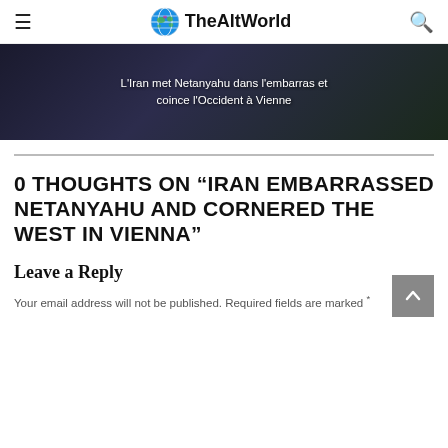TheAltWorld
[Figure (photo): Dark background image with French text overlay: 'L'Iran met Netanyahu dans l'embarras et coince l'Occident à Vienne']
0 THOUGHTS ON “IRAN EMBARRASSED NETANYAHU AND CORNERED THE WEST IN VIENNA”
Leave a Reply
Your email address will not be published. Required fields are marked *